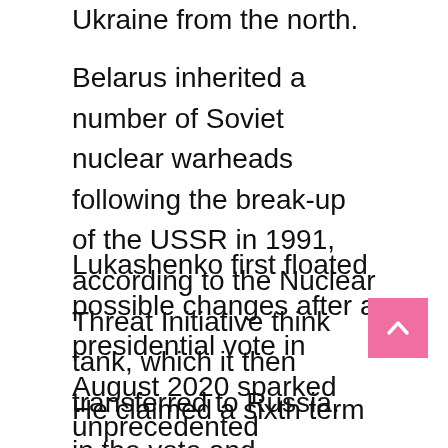Ukraine from the north.
Belarus inherited a number of Soviet nuclear warheads following the break-up of the USSR in 1991, according to the Nuclear Threat Initiative think tank, which it then transferred to Russia.
Lukashenko first floated possible changes after a presidential vote in August 2020 sparked unprecedented demonstrations that were met with a brutal crackdown.
He claimed a sixth term in the vote and imprisoned leading opposition figures,